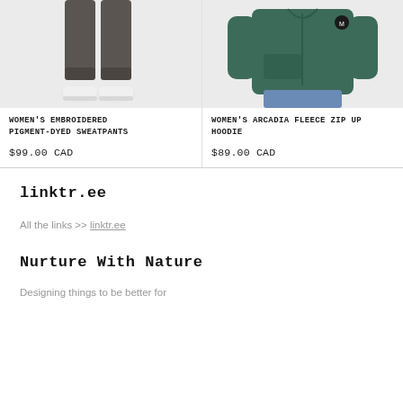[Figure (photo): Lower half of a person wearing dark olive/charcoal jogger sweatpants with white sneakers on a light gray background]
Women's Embroidered Pigment-Dyed Sweatpants
$99.00 CAD
[Figure (photo): Torso of a person wearing a dark green zip-up hoodie/fleece jacket with a small logo badge on the chest, over blue jeans, on a light gray background]
Women's Arcadia Fleece Zip Up Hoodie
$89.00 CAD
linktr.ee
All the links >> linktr.ee
Nurture With Nature
Designing things to be better for